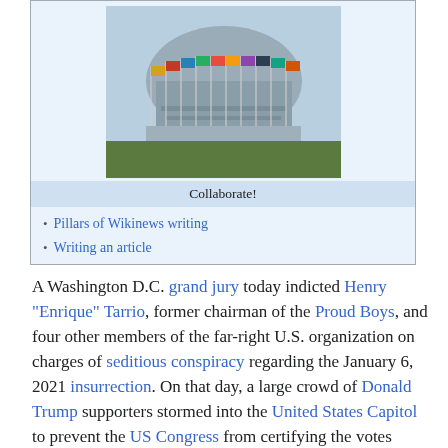[Figure (photo): Photo of a building with rows of international flags in front of it, resembling the United Nations headquarters.]
Collaborate!
Pillars of Wikinews writing
Writing an article
A Washington D.C. grand jury today indicted Henry "Enrique" Tarrio, former chairman of the Proud Boys, and four other members of the far-right U.S. organization on charges of seditious conspiracy regarding the January 6, 2021 insurrection. On that day, a large crowd of Donald Trump supporters stormed into the United States Capitol to prevent the US Congress from certifying the votes from the 2020 United States presidential election. The charges state the riot was not a spontaneous or impromptu act but